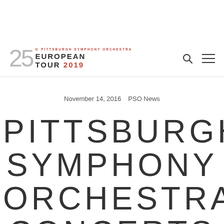[Figure (logo): Pittsburgh Symphony Orchestra European Tour 2019 logo featuring stylized '25' in silver with red PSO radio tower icon and text 'EUROPEAN TOUR 2019']
November 14, 2016    PSO News
PITTSBURGH SYMPHONY ORCHESTRA CONCERTS